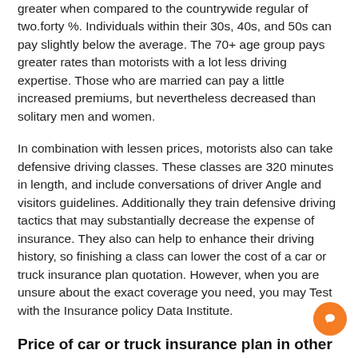greater when compared to the countrywide regular of two.forty %. Individuals within their 30s, 40s, and 50s can pay slightly below the average. The 70+ age group pays greater rates than motorists with a lot less driving expertise. Those who are married can pay a little increased premiums, but nevertheless decreased than solitary men and women.
In combination with lessen prices, motorists also can take defensive driving classes. These classes are 320 minutes in length, and include conversations of driver Angle and visitors guidelines. Additionally they train defensive driving tactics that may substantially decrease the expense of insurance. They also can help to enhance their driving history, so finishing a class can lower the cost of a car or truck insurance plan quotation. However, when you are unsure about the exact coverage you need, you may Test with the Insurance policy Data Institute.
Price of car or truck insurance plan in other states